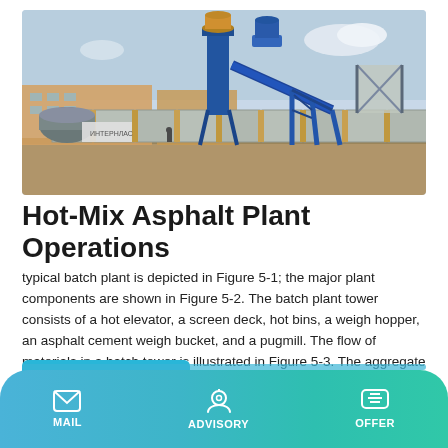[Figure (photo): Photograph of a hot-mix asphalt plant / batch plant with blue structural steel components, conveyor belt, silos, and concrete retaining walls at a construction site.]
Hot-Mix Asphalt Plant Operations
typical batch plant is depicted in Figure 5-1; the major plant components are shown in Figure 5-2. The batch plant tower consists of a hot elevator, a screen deck, hot bins, a weigh hopper, an asphalt cement weigh bucket, and a pugmill. The flow of materials in a batch tower is illustrated in Figure 5-3. The aggregate used in the mix is removed
Learn More
MAIL   ADVISORY   OFFER